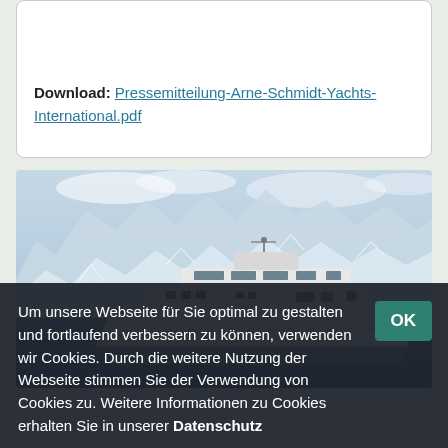Download: Pressemitteilung-Arne-Schmidt-Yachts-International.pdf
[Figure (photo): A large white luxury motor yacht photographed on calm water with dramatic blue-white glacier and mountain scenery in the background.]
Um unsere Webseite für Sie optimal zu gestalten und fortlaufend verbessern zu können, verwenden wir Cookies. Durch die weitere Nutzung der Webseite stimmen Sie der Verwendung von Cookies zu. Weitere Informationen zu Cookies erhalten Sie in unserer Datenschutz